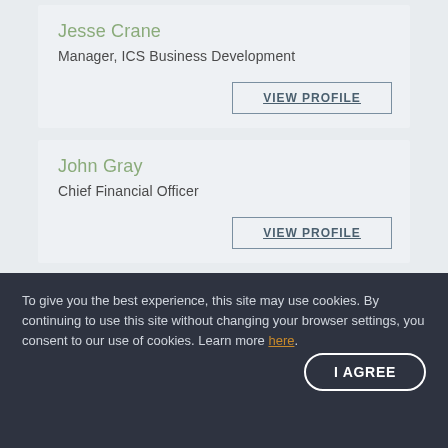Jesse Crane
Manager, ICS Business Development
VIEW PROFILE
John Gray
Chief Financial Officer
VIEW PROFILE
John Redoutey
Associate, Strategic Integration
To give you the best experience, this site may use cookies. By continuing to use this site without changing your browser settings, you consent to our use of cookies. Learn more here.
I AGREE
Partner, Managing Director